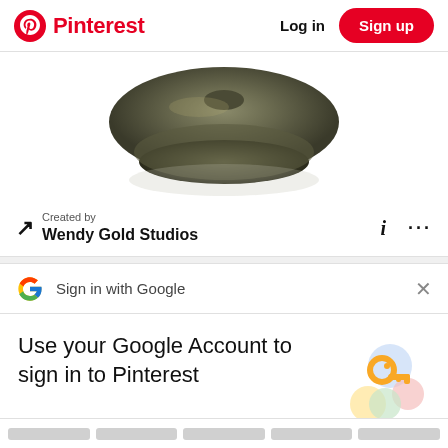Pinterest  Log in  Sign up
[Figure (photo): Partial view of a dark metallic/bronze disk object on white background, cropped at top]
Created by
Wendy Gold Studios
Sign in with Google
Use your Google Account to sign in to Pinterest
[Figure (illustration): Google account illustration with a golden key, colorful circles in blue, red, green, and yellow]
No more passwords to remember.
Signing in is fast, simple and secure.
Continue